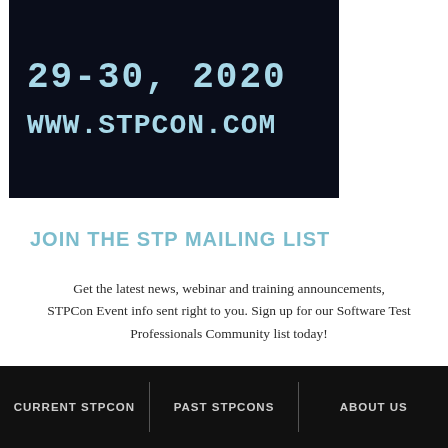[Figure (screenshot): Dark banner with tech/server grid background showing '29-30, 2020' and 'WWW.STPCON.COM' in light blue monospace font]
JOIN THE STP MAILING LIST
Get the latest news, webinar and training announcements, STPCon Event info sent right to you. Sign up for our Software Test Professionals Community list today!
SIGN UP NOW
You will be redirected to
https://www.SoftwareTestPro.com/subscribe-to-stp/
CURRENT STPCON | PAST STPCONS | ABOUT US